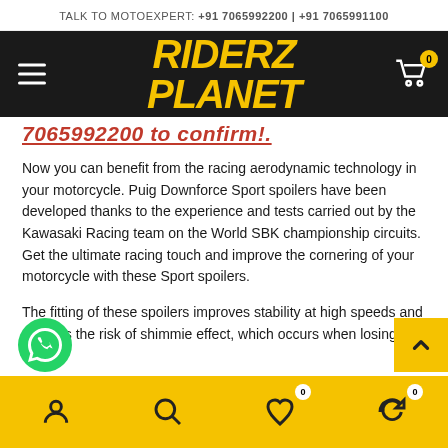TALK TO MOTOEXPERT: +91 7065992200 | +91 7065991100
[Figure (logo): Riderz Planet logo in yellow italic bold text on dark background with hamburger menu and cart icon]
7065992200 to confirm!.
Now you can benefit from the racing aerodynamic technology in your motorcycle. Puig Downforce Sport spoilers have been developed thanks to the experience and tests carried out by the Kawasaki Racing team on the World SBK championship circuits. Get the ultimate racing touch and improve the cornering of your motorcycle with these Sport spoilers.
The fitting of these spoilers improves stability at high speeds and reduces the risk of shimmie effect, which occurs when losing